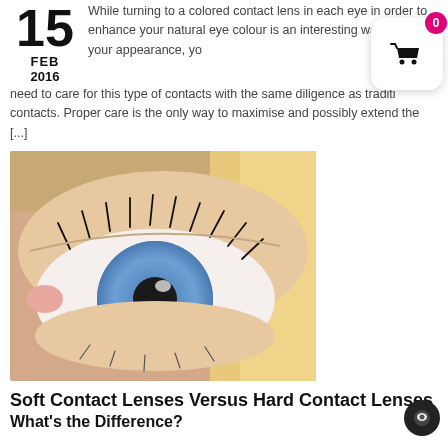15 FEB 2016
While turning to a colored contact lens in each eye in order to enhance your natural eye colour is an interesting way to alter your appearance, you need to care for this type of contacts with the same diligence as traditional contacts. Proper care is the only way to maximise and possibly extend the [...]
[Figure (photo): Close-up photograph of a blue eye with long eyelashes on a person with blonde hair]
Soft Contact Lenses Versus Hard Contact Lenses
What's the Difference?